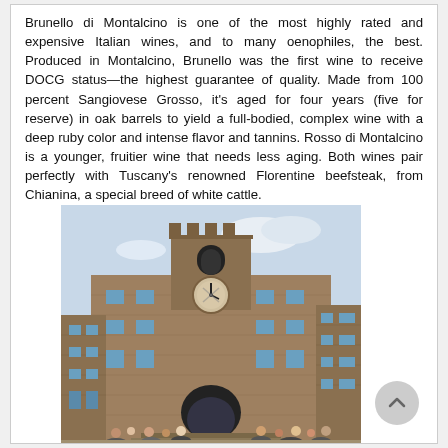Brunello di Montalcino is one of the most highly rated and expensive Italian wines, and to many oenophiles, the best. Produced in Montalcino, Brunello was the first wine to receive DOCG status—the highest guarantee of quality. Made from 100 percent Sangiovese Grosso, it's aged for four years (five for reserve) in oak barrels to yield a full-bodied, complex wine with a deep ruby color and intense flavor and tannins. Rosso di Montalcino is a younger, fruitier wine that needs less aging. Both wines pair perfectly with Tuscany's renowned Florentine beefsteak, from Chianina, a special breed of white cattle.
[Figure (photo): Photograph of a historic Italian stone building with a tall clock tower in the center. The building has multiple windows arranged symmetrically. A crowd of tourists is visible at the base. There is an archway entrance at the bottom center of the building. The sky is light blue with some clouds.]